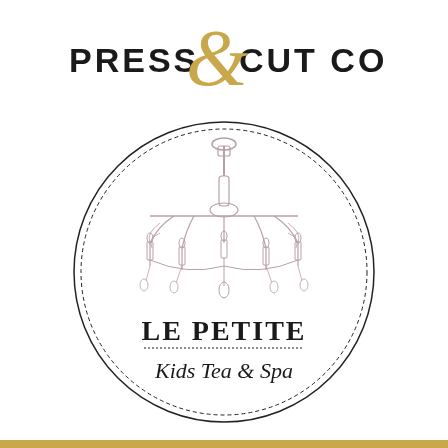[Figure (logo): Press & Cut Co logo with stylized black uppercase text PRESS & CUT CO and a large gold italic ampersand overlapping the text]
[Figure (logo): Le Petite Kids Tea & Spa circular logo with dashed border circle, ornate chandelier illustration in the center top, bold serif text LE PETITE, dotted underline, and italic script text Kids Tea & Spa below]